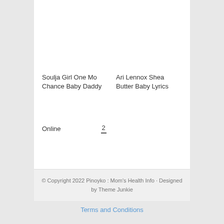Soulja Girl One Mo Chance Baby Daddy
Ari Lennox Shea Butter Baby Lyrics
Online   2
© Copyright 2022 Pinoyko : Mom's Health Info · Designed by Theme Junkie
Terms and Conditions